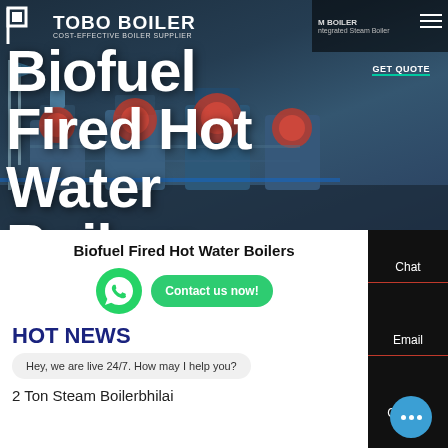[Figure (screenshot): TOBO BOILER website header with logo showing 'TOBO BOILER - COST-EFFECTIVE BOILER SUPPLIER', navigation bar with hamburger menu, 'GET QUOTE' button, and hero background image of industrial boilers]
Biofuel Fired Hot Water Boilers
[Figure (screenshot): Sidebar panel on black background with Chat, Email, and Contact items separated by red lines]
Biofuel Fired Hot Water Boilers
[Figure (logo): WhatsApp green circular icon]
Contact us now!
HOT NEWS
Hey, we are live 24/7. How may I help you?
2 Ton Steam Boilerbhilai